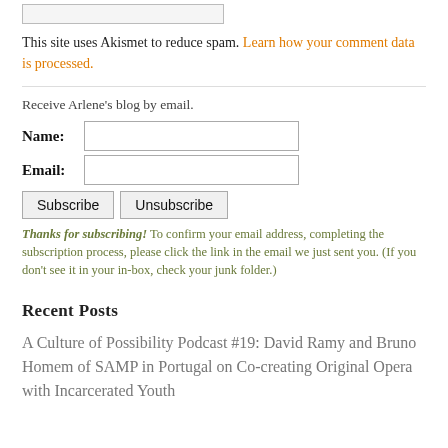This site uses Akismet to reduce spam. Learn how your comment data is processed.
Receive Arlene's blog by email.
Name:
Email:
Subscribe  Unsubscribe
Thanks for subscribing! To confirm your email address, completing the subscription process, please click the link in the email we just sent you. (If you don't see it in your in-box, check your junk folder.)
Recent Posts
A Culture of Possibility Podcast #19: David Ramy and Bruno Homem of SAMP in Portugal on Co-creating Original Opera with Incarcerated Youth